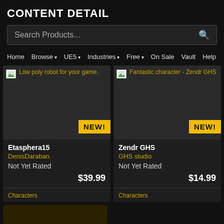CONTENT DETAIL
Search Products...
Home  Browse  UE5  Industries  Free  On Sale  Vault  Help
[Figure (screenshot): Product card for Low poly robot for your game by Etasphera15 / DenisDaraban, Not Yet Rated, $39.99, NEW!, Characters]
[Figure (screenshot): Product card for Fantastic character - Zendr GHS by Zendr GHS / GHS studio, Not Yet Rated, $14.99, NEW!, Characters]